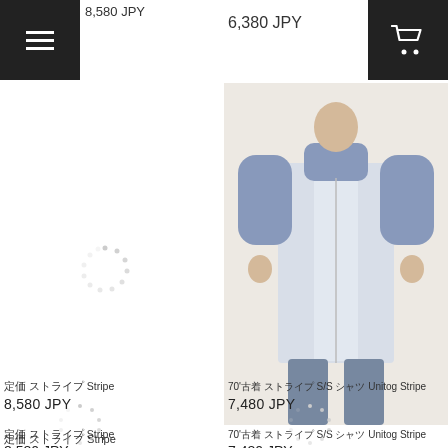8,580 JPY
6,380 JPY
[Figure (photo): Loading spinner placeholder (dotted circle) for left product image]
[Figure (photo): Photo of a person wearing a short-sleeve two-tone shirt (blue collar/sleeves, light blue front) with dark trousers]
?????? ????????? Stripe
8,580 JPY
70'?????? ?????? S/S ??? Unitog Stripe
7,480 JPY
[Figure (photo): Loading spinner placeholder (dotted circle) bottom left]
[Figure (photo): Loading spinner placeholder (dotted circle) bottom right]